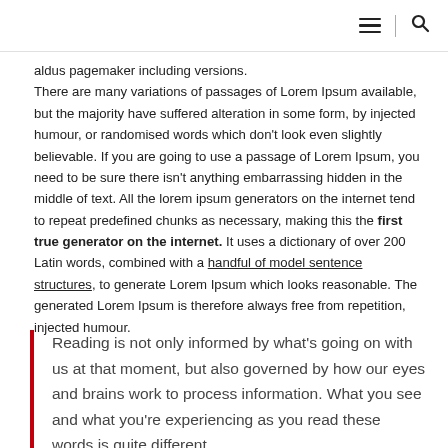[hamburger menu icon] | [search icon]
aldus pagemaker including versions.
There are many variations of passages of Lorem Ipsum available, but the majority have suffered alteration in some form, by injected humour, or randomised words which don't look even slightly believable. If you are going to use a passage of Lorem Ipsum, you need to be sure there isn't anything embarrassing hidden in the middle of text. All the lorem ipsum generators on the internet tend to repeat predefined chunks as necessary, making this the first true generator on the internet. It uses a dictionary of over 200 Latin words, combined with a handful of model sentence structures, to generate Lorem Ipsum which looks reasonable. The generated Lorem Ipsum is therefore always free from repetition, injected humour.
Reading is not only informed by what's going on with us at that moment, but also governed by how our eyes and brains work to process information. What you see and what you're experiencing as you read these words is quite different.